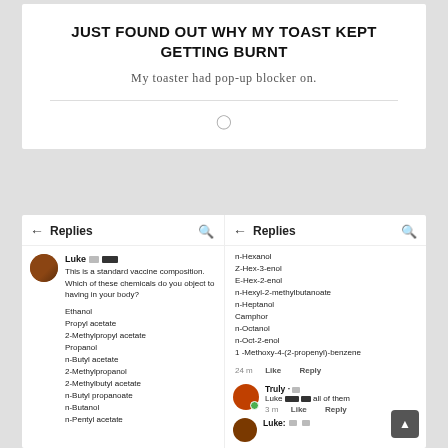JUST FOUND OUT WHY MY TOAST KEPT GETTING BURNT
My toaster had pop-up blocker on.
[Figure (screenshot): Two side-by-side social media 'Replies' panels showing a comment from Luke listing vaccine chemical compositions including Ethanol, Propyl acetate, 2-Methylpropyl acetate, Propanol, n-Butyl acetate, 2-Methylpropanol, 2-Methylbutyl acetate, n-Butyl propanoate, n-Butanol, n-Pentyl acetate, and continued on the right panel: n-Hexanol, Z-Hex-3-enol, E-Hex-2-enol, n-Hexyl-2-methylbutanoate, n-Heptanol, Camphor, n-Octanol, n-Oct-2-enol, 1-Methoxy-4-(2-propenyl)-benzene. A reply from Truly to Luke saying 'all of them'.]